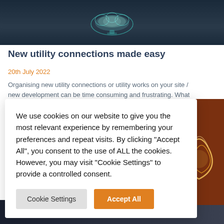[Figure (photo): Dark blue background with glowing teal/cyan brain or cloud shape illuminated from above]
New utility connections made easy
20th July 2022
Organising new utility connections or utility works on your site / new development can be time consuming and frustrating. What should, in theory, be a
We use cookies on our website to give you the most relevant experience by remembering your preferences and repeat visits. By clicking “Accept All”, you consent to the use of ALL the cookies. However, you may visit "Cookie Settings" to provide a controlled consent.
[Figure (photo): Amber/orange glowing light bulb filament close-up against a dark brick background]
[Figure (photo): Dark blue/grey bottom strip image, appears to be a road or pathway]